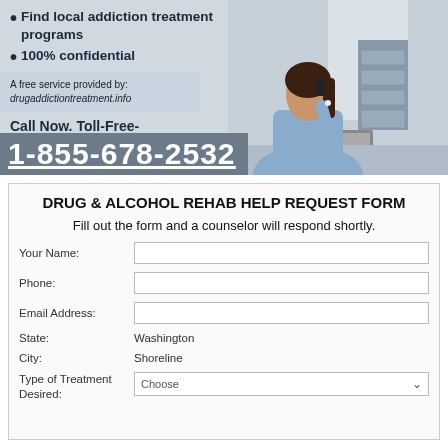Find local addiction treatment programs
100% confidential
A free service provided by:
drugaddictiontreatment.info
Call Now. Toll-Free-
1-855-678-2532
[Figure (photo): Woman in blue shirt talking on phone at a desk with keyboard and filing cabinet]
DRUG & ALCOHOL REHAB HELP REQUEST FORM
Fill out the form and a counselor will respond shortly.
Your Name:
Phone:
Email Address:
State: Washington
City: Shoreline
Type of Treatment Desired: Choose